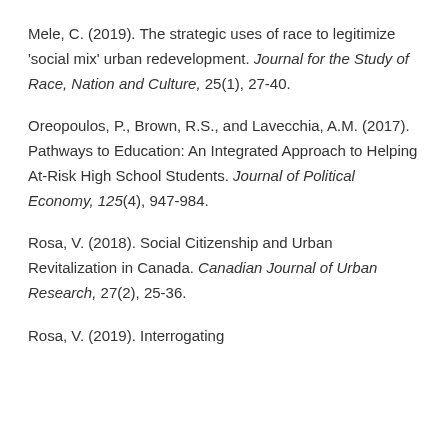Mele, C. (2019). The strategic uses of race to legitimize 'social mix' urban redevelopment. Journal for the Study of Race, Nation and Culture, 25(1), 27-40.
Oreopoulos, P., Brown, R.S., and Lavecchia, A.M. (2017). Pathways to Education: An Integrated Approach to Helping At-Risk High School Students. Journal of Political Economy, 125(4), 947-984.
Rosa, V. (2018). Social Citizenship and Urban Revitalization in Canada. Canadian Journal of Urban Research, 27(2), 25-36.
Rosa, V. (2019). Interrogating